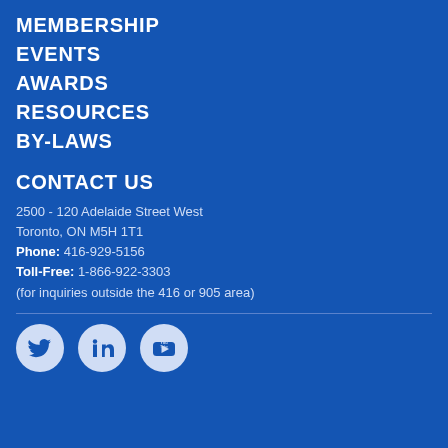MEMBERSHIP
EVENTS
AWARDS
RESOURCES
BY-LAWS
CONTACT US
2500 - 120 Adelaide Street West
Toronto, ON M5H 1T1
Phone: 416-929-5156
Toll-Free: 1-866-922-3303
(for inquiries outside the 416 or 905 area)
[Figure (illustration): Social media icons: Twitter bird, LinkedIn 'in', YouTube play button, displayed as white icons on light blue circular backgrounds.]